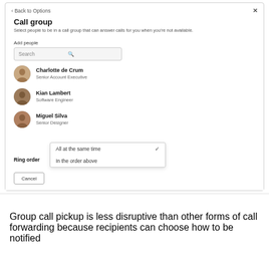[Figure (screenshot): Microsoft Teams 'Call group' settings panel showing a search box for adding people, a list of three contacts (Charlotte de Crum - Senior Account Executive, Kian Lambert - Software Engineer, Miguel Silva - Senior Designer), a Ring order dropdown set to 'All at the same time' with a dropdown menu open showing options 'All at the same time' (checked) and 'In the order above', and a Cancel button.]
Group call pickup is less disruptive than other forms of call forwarding because recipients can choose how to be notified